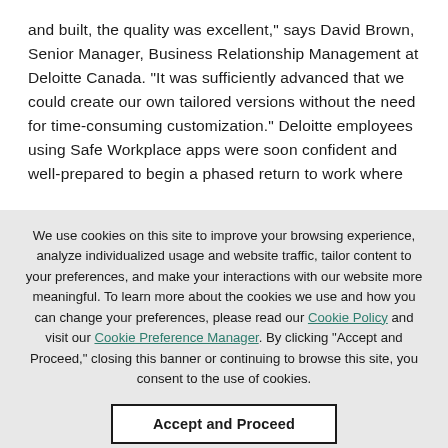and built, the quality was excellent," says David Brown, Senior Manager, Business Relationship Management at Deloitte Canada. "It was sufficiently advanced that we could create our own tailored versions without the need for time-consuming customization." Deloitte employees using Safe Workplace apps were soon confident and well-prepared to begin a phased return to work where
We use cookies on this site to improve your browsing experience, analyze individualized usage and website traffic, tailor content to your preferences, and make your interactions with our website more meaningful. To learn more about the cookies we use and how you can change your preferences, please read our Cookie Policy and visit our Cookie Preference Manager. By clicking "Accept and Proceed," closing this banner or continuing to browse this site, you consent to the use of cookies.
Accept and Proceed